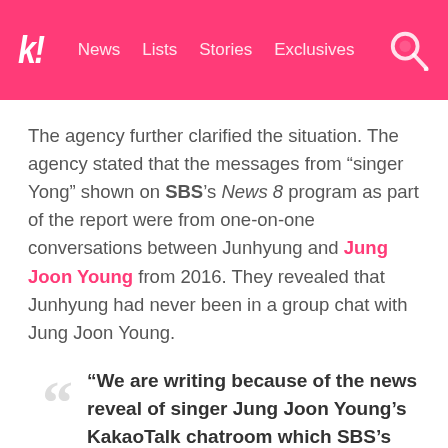k! News  Lists  Stories  Exclusives
The agency further clarified the situation. The agency stated that the messages from “singer Yong” shown on SBS’s News 8 program as part of the report were from one-on-one conversations between Junhyung and Jung Joon Young from 2016. They revealed that Junhyung had never been in a group chat with Jung Joon Young.
“We are writing because of the news reveal of singer Jung Joon Young’s KakaoTalk chatroom which SBS’s News 8 made a report on March 11 about. We understand that people are